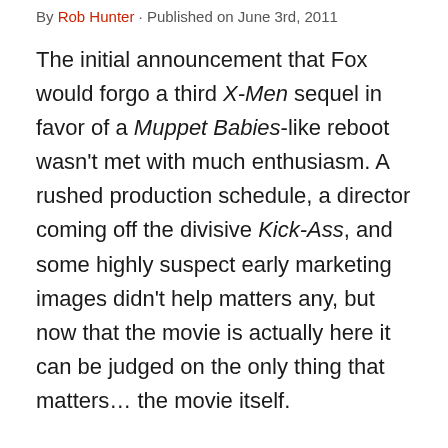By Rob Hunter · Published on June 3rd, 2011
The initial announcement that Fox would forgo a third X-Men sequel in favor of a Muppet Babies-like reboot wasn't met with much enthusiasm. A rushed production schedule, a director coming off the divisive Kick-Ass, and some highly suspect early marketing images didn't help matters any, but now that the movie is actually here it can be judged on the only thing that matters… the movie itself.
And goddamn is it great. Maybe even the best of the series…